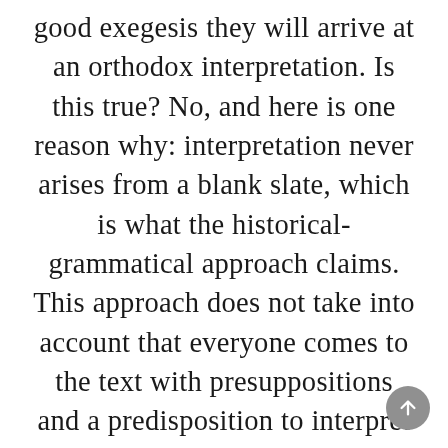good exegesis they will arrive at an orthodox interpretation. Is this true? No, and here is one reason why: interpretation never arises from a blank slate, which is what the historical-grammatical approach claims. This approach does not take into account that everyone comes to the text with presuppositions and a predisposition to interpret the text in a certain way. Currently, we find ourselves living in a post-enlightenment world, which states,